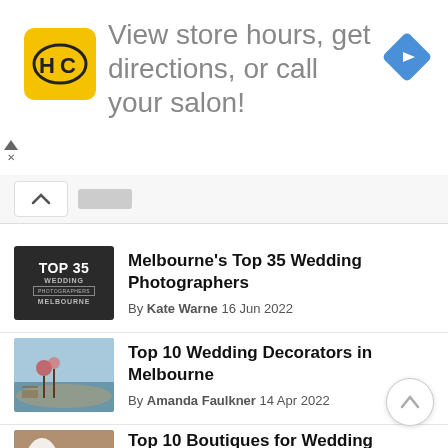[Figure (infographic): Advertisement banner with HC logo (yellow square with HC letters), text 'View store hours, get directions, or call your salon!', and a blue navigation diamond icon on the right]
Melbourne's Top 35 Wedding Photographers
By Kate Warne 16 Jun 2022
Top 10 Wedding Decorators in Melbourne
By Amanda Faulkner 14 Apr 2022
Top 10 Boutiques for Wedding Dress in Melbourne (2022)